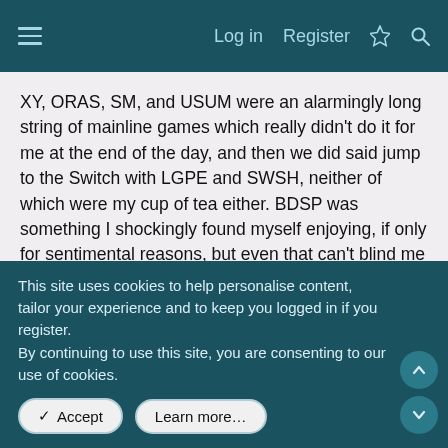Log in | Register
XY, ORAS, SM, and USUM were an alarmingly long string of mainline games which really didn't do it for me at the end of the day, and then we did said jump to the Switch with LGPE and SWSH, neither of which were my cup of tea either. BDSP was something I shockingly found myself enjoying, if only for sentimental reasons, but even that can't blind me to its numerous flaws, Afterwards we have LA which is without doubt a return to form and worth the money.
Has the jump to console been a positive or negative? In the fairest way possible, I guess it's been a mixed bag with some definite ups and downs. I'm open to the hope that LA was the start of an upwards trend which SV continues but I shall be, as
This site uses cookies to help personalise content, tailor your experience and to keep you logged in if you register.
By continuing to use this site, you are consenting to our use of cookies.